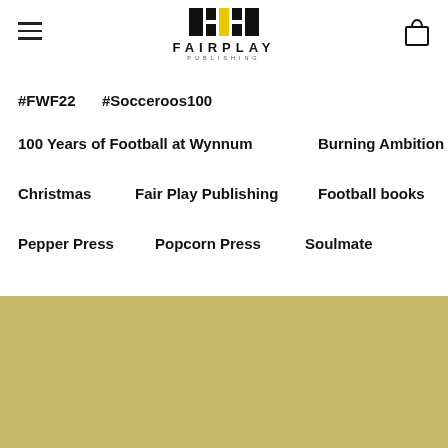[Figure (logo): Fair Play Publishing logo with colored blocks above the text FAIRPLAY PUBLISHING]
#FWF22
#Socceroos100
100 Years of Football at Wynnum
Burning Ambition
Christmas
Fair Play Publishing
Football books
Pepper Press
Popcorn Press
Soulmate
[Figure (illustration): Gold/tan colored rectangular image area at the bottom of the page]